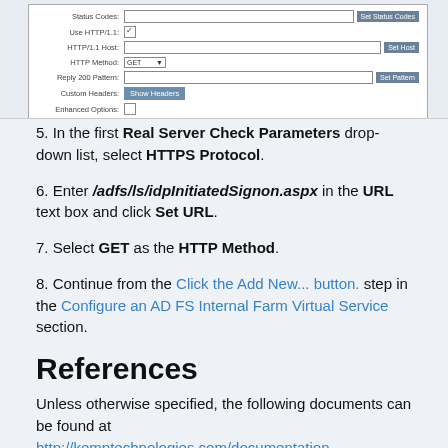[Figure (screenshot): Screenshot of Real Server Check Parameters form showing fields: Status Codes, Use HTTP/1.1 (checked), HTTP/1.1 Host, HTTP Method (GET selected), Reply 200 Pattern, Custom Headers (Show Headers button), Enhanced Options.]
5. In the first Real Server Check Parameters drop-down list, select HTTPS Protocol.
6. Enter /adfs/ls/idpInitiatedSignon.aspx in the URL text box and click Set URL.
7. Select GET as the HTTP Method.
8. Continue from the Click the Add New... button. step in the Configure an AD FS Internal Farm Virtual Service section.
References
Unless otherwise specified, the following documents can be found at http://kemptechnologies.com/documentation.